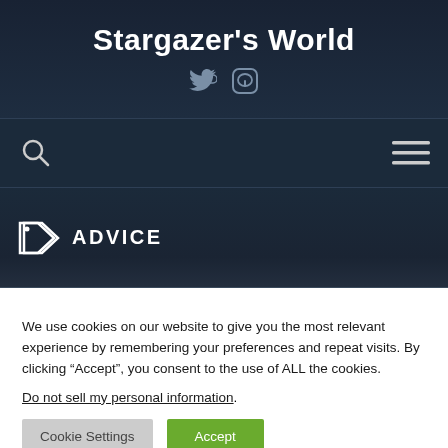Stargazer's World
[Figure (illustration): Twitter bird icon and Mastodon logo social media icons in gray]
[Figure (illustration): Search magnifying glass icon on the left, hamburger menu icon on the right, navigation bar]
ADVICE
We use cookies on our website to give you the most relevant experience by remembering your preferences and repeat visits. By clicking “Accept”, you consent to the use of ALL the cookies.
Do not sell my personal information.
Cookie Settings  Accept